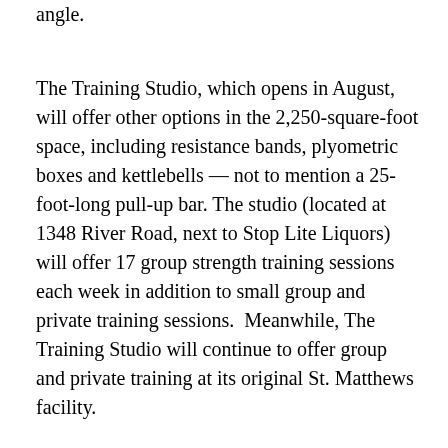it simply by changing resistance and body angle.
The Training Studio, which opens in August, will offer other options in the 2,250-square-foot space, including resistance bands, plyometric boxes and kettlebells — not to mention a 25-foot-long pull-up bar. The studio (located at 1348 River Road, next to Stop Lite Liquors) will offer 17 group strength training sessions each week in addition to small group and private training sessions.  Meanwhile, The Training Studio will continue to offer group and private training at its original St. Matthews facility.